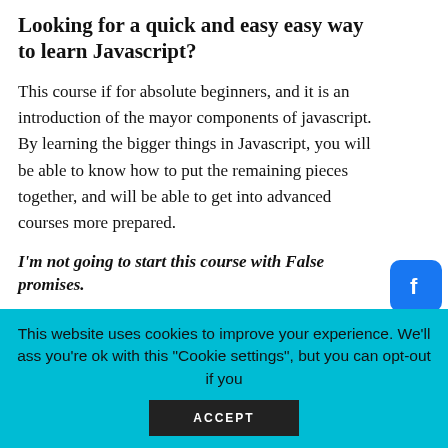Looking for a quick and easy easy way to learn Javascript?
This course if for absolute beginners, and it is an introduction of the mayor components of javascript. By learning the bigger things in Javascript, you will be able to know how to put the remaining pieces together, and will be able to get into advanced courses more prepared.
I'm not going to start this course with False promises.
At the end of this course you will NOT become expert and nor will you in any other course. To become an expert in Javascript or any other programming language you need many hours of practice and experience; more like years of practice and experience.
This website uses cookies to improve your experience. We'll assume you're ok with this "Cookie settings", but you can opt-out if you wish. ACCEPT